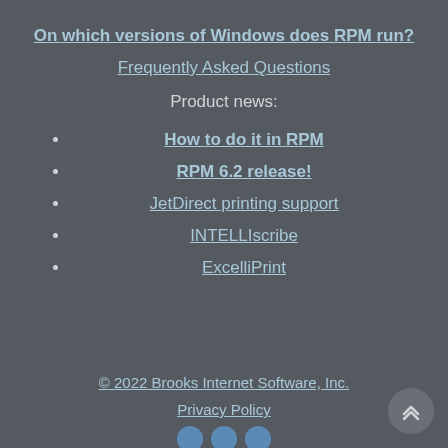On which versions of Windows does RPM run?
Frequently Asked Questions
Product news:
How to do it in RPM
RPM 6.2 release!
JetDirect printing support
INTELLIscribe
ExcelliPrint
© 2022 Brooks Internet Software, Inc.
Privacy Policy